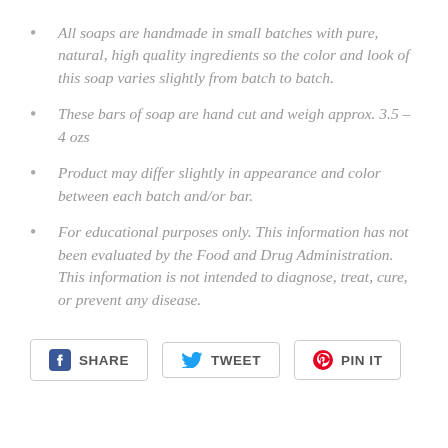All soaps are handmade in small batches with pure, natural, high quality ingredients so the color and look of this soap varies slightly from batch to batch.
These bars of soap are hand cut and weigh approx. 3.5 – 4 ozs
Product may differ slightly in appearance and color between each batch and/or bar.
For educational purposes only. This information has not been evaluated by the Food and Drug Administration. This information is not intended to diagnose, treat, cure, or prevent any disease.